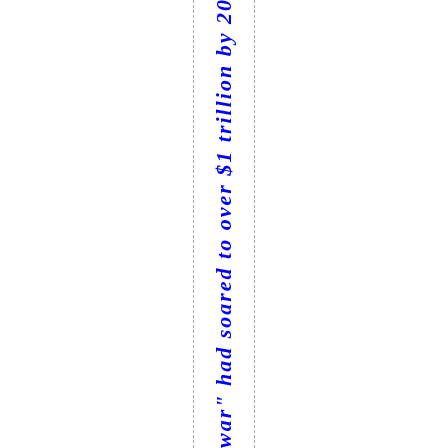war" had soared to over $1 trillion by 2010. Over $